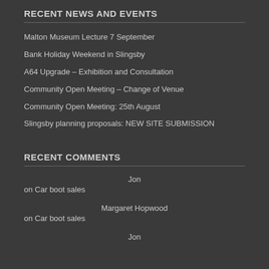RECENT NEWS AND EVENTS
Malton Museum Lecture 7 September
Bank Holiday Weekend in Slingsby
A64 Upgrade – Exhibition and Consultation
Community Open Meeting – Change of Venue
Community Open Meeting: 25th August
Slingsby planning proposals: NEW SITE SUBMISSION
RECENT COMMENTS
Jon
on Car boot sales
Margaret Hopwood
on Car boot sales
Jon